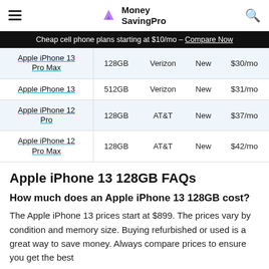Money SavingPro
Cheap cell phone plans starting at $10/mo - Compare Now
|  | Storage | Carrier | Condition | Price |
| --- | --- | --- | --- | --- |
| Apple iPhone 13 Pro Max | 128GB | Verizon | New | $30/mo |
| Apple iPhone 13 | 512GB | Verizon | New | $31/mo |
| Apple iPhone 12 Pro | 128GB | AT&T | New | $37/mo |
| Apple iPhone 12 Pro Max | 128GB | AT&T | New | $42/mo |
Apple iPhone 13 128GB FAQs
How much does an Apple iPhone 13 128GB cost?
The Apple iPhone 13 prices start at $899. The prices vary by condition and memory size. Buying refurbished or used is a great way to save money. Always compare prices to ensure you get the best